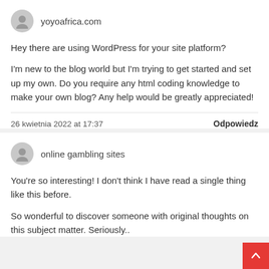yoyoafrica.com
Hey there are using WordPress for your site platform?

I'm new to the blog world but I'm trying to get started and set up my own. Do you require any html coding knowledge to make your own blog? Any help would be greatly appreciated!
26 kwietnia 2022 at 17:37
Odpowiedz
online gambling sites
You're so interesting! I don't think I have read a single thing like this before.

So wonderful to discover someone with original thoughts on this subject matter. Seriously..